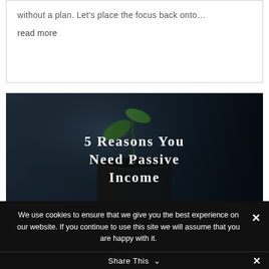without a plan. Let's place the focus back onto… read more
[Figure (photo): Dark photo of a seedling growing from a small pot of soil, overlaid with white serif text reading '5 Reasons You Need Passive Income']
We use cookies to ensure that we give you the best experience on our website. If you continue to use this site we will assume that you are happy with it.
Share This ∨